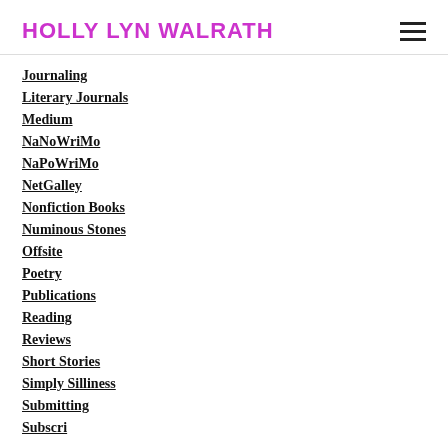HOLLY LYN WALRATH
Journaling
Literary Journals
Medium
NaNoWriMo
NaPoWriMo
NetGalley
Nonfiction Books
Numinous Stones
Offsite
Poetry
Publications
Reading
Reviews
Short Stories
Simply Silliness
Submitting
Subscri...